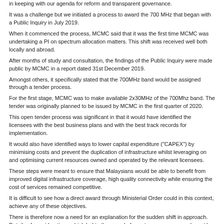in keeping with our agenda for reform and transparent governance.
It was a challenge but we initiated a process to award the 700 MHz that began with a Public Inquiry in July 2019.
When it commenced the process, MCMC said that it was the first time MCMC was undertaking a PI on spectrum allocation matters. This shift was received well both locally and abroad.
After months of study and consultation, the findings of the Public Inquiry were made public by MCMC in a report dated 31st December 2019.
Amongst others, it specifically stated that the 700MHz band would be assigned through a tender process.
For the first stage, MCMC was to make available 2x30MHz of the 700Mhz band. The tender was originally planned to be issued by MCMC in the first quarter of 2020.
This open tender process was significant in that it would have identified the licensees with the best business plans and with the best track records for implementation.
It would also have identified ways to lower capital expenditure ("CAPEX") by minimising costs and prevent the duplication of infrastructure whilst leveraging on and optimising current resources owned and operated by the relevant licensees.
These steps were meant to ensure that Malaysians would be able to benefit from improved digital infrastructure coverage, high quality connectivity while ensuring the cost of services remained competitive.
It is difficult to see how a direct award through Ministerial Order could in this context, achieve any of these objectives.
There is therefore now a need for an explanation for the sudden shift in approach. Details of considerations which led to the award of spectrum as announced must be made public soonest possible.
Details are crucial on this very important spectrum assignment as it would have implications on the development of our digital infrastructure and our economic competitiveness.
Reasons must therefore be given for the need for a direct award, the criteria used to select the providers, the revenue to the government and the benefits that Malaysians can hope to achieve therefrom.